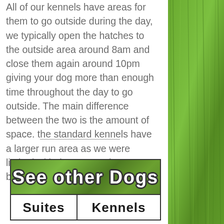All of our kennels have areas for them to go outside during the day, we typically open the hatches to the outside area around 8am and close them again around 10pm giving your dog more than enough time throughout the day to go outside. The main difference between the two is the amount of space. the standard kennels have a larger run area as we were limited with the space when building the suites.
[Figure (photo): Grass/lawn photo on the right side of the page as a decorative column]
| See other Dogs |  |
| --- | --- |
| Suites | Kennels |